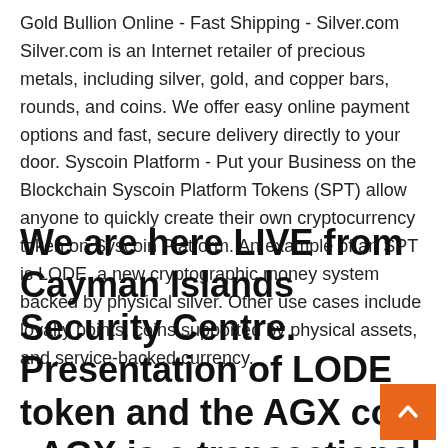Gold Bullion Online - Fast Shipping - Silver.com Silver.com is an Internet retailer of precious metals, including silver, gold, and copper bars, rounds, and coins. We offer easy online payment options and fast, secure delivery directly to your door. Syscoin Platform - Put your Business on the Blockchain Syscoin Platform Tokens (SPT) allow anyone to quickly create their own cryptocurrency token on Syscoin Platform. An example of an SPT is LODE, a new cryptographic money system backed by physical silver. Other use cases include loyalty points, coins supported by physical assets, and service-backed currency.
We are here LIVE from Cayman Islands Security Centre. Presentation of LODE token and the AGX coin . AGX is a transactional crypto